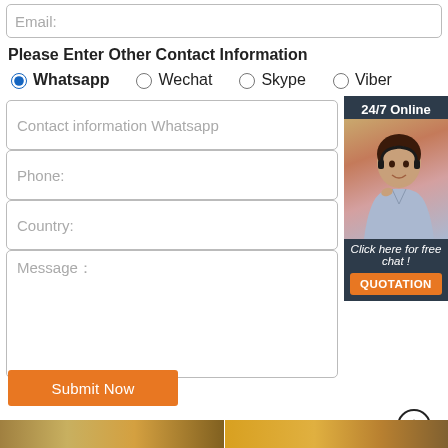Email:
Please Enter Other Contact Information
Whatsapp (selected)
Wechat
Skype
Viber
Contact information Whatsapp
[Figure (photo): 24/7 Online customer service representative with headset, dark background with click here for free chat label and QUOTATION orange button]
Phone:
Country:
Message:
Submit Now
[Figure (illustration): Scroll to top arrow icon (circle with upward arrow)]
[Figure (photo): Two partial industrial/warehouse photos at bottom of page]